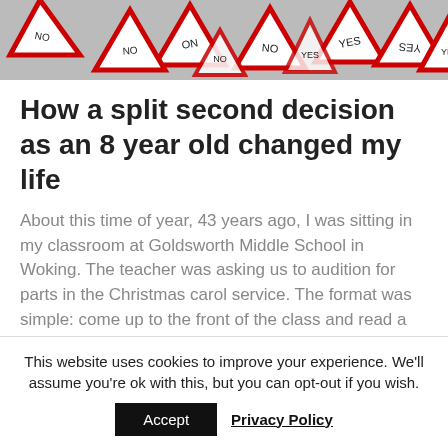[Figure (photo): Pile of red and white triangular YES/NO voting signs scattered on a surface, viewed from above.]
How a split second decision as an 8 year old changed my life
About this time of year, 43 years ago, I was sitting in my classroom at Goldsworth Middle School in Woking. The teacher was asking us to audition for parts in the Christmas carol service. The format was simple: come up to the front of the class and read a passage. Then the class would vote for whoever
This website uses cookies to improve your experience. We'll assume you're ok with this, but you can opt-out if you wish.
Accept
Privacy Policy